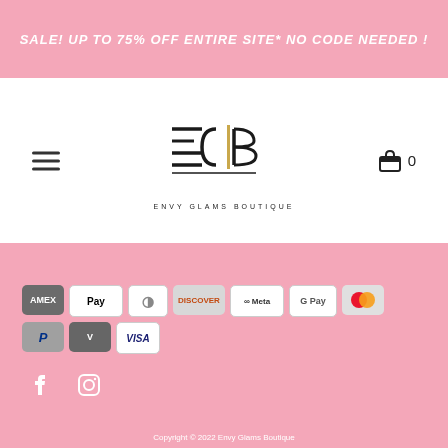SALE! UP TO 75% OFF ENTIRE SITE* NO CODE NEEDED !
[Figure (logo): Envy Glams Boutique logo with ECB letters in black with gold accent bar, text ENVY GLAMS BOUTIQUE below]
[Figure (infographic): Payment method icons: AMEX, Apple Pay, Diners Club, Discover, Meta Pay, Google Pay, Mastercard, PayPal, Venmo, Visa]
[Figure (infographic): Social media icons: Facebook and Instagram]
Copyright © 2022 Envy Glams Boutique